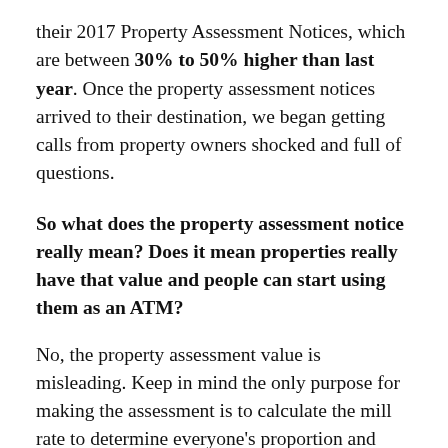their 2017 Property Assessment Notices, which are between 30% to 50% higher than last year. Once the property assessment notices arrived to their destination, we began getting calls from property owners shocked and full of questions.
So what does the property assessment notice really mean? Does it mean properties really have that value and people can start using them as an ATM?
No, the property assessment value is misleading. Keep in mind the only purpose for making the assessment is to calculate the mill rate to determine everyone's proportion and share to pay for the municipal government services. In real estate, we don't use the property assessments as